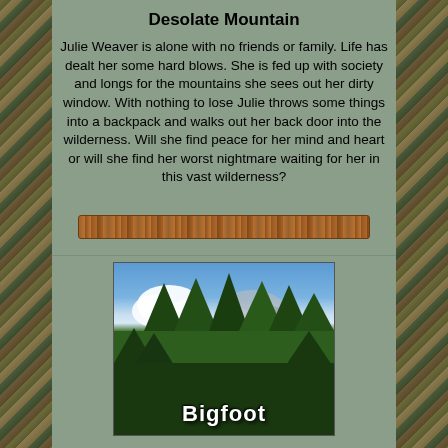Desolate Mountain
Julie Weaver is alone with no friends or family. Life has dealt her some hard blows. She is fed up with society and longs for the mountains she sees out her dirty window. With nothing to lose Julie throws some things into a backpack and walks out her back door into the wilderness. Will she find peace for her mind and heart or will she find her worst nightmare waiting for her in this vast wilderness?
[Figure (photo): Decorative wooden bar/plank divider element]
[Figure (photo): Book cover image showing tall green forest trees against a blue sky with clouds, with the word 'Bigfoot' in bold white text at the bottom]